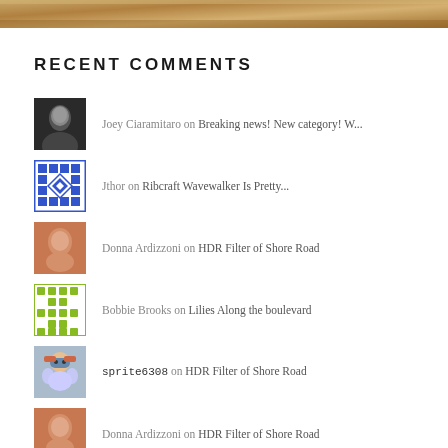[Figure (photo): Partial top image strip showing sandy/rocky texture in brown/tan tones]
RECENT COMMENTS
Joey Ciaramitaro on Breaking news! New category! W...
Jthor on Ribcraft Wavewalker Is Pretty...
Donna Ardizzoni on HDR Filter of Shore Road
Bobbie Brooks on Lilies Along the boulevard
sprite6308 on HDR Filter of Shore Road
Donna Ardizzoni on HDR Filter of Shore Road
Joey Ciaramitaro on The Boat Parade Of Lights Is